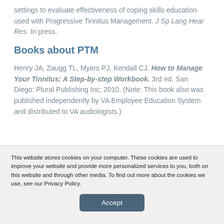settings to evaluate effectiveness of coping skills education used with Progressive Tinnitus Management. J Sp Lang Hear Res. In press.
Books about PTM
Henry JA, Zaugg TL, Myers PJ, Kendall CJ. How to Manage Your Tinnitus: A Step-by-step Workbook. 3rd ed. San Diego: Plural Publishing Inc; 2010. (Note: This book also was published independently by VA Employee Education System and distributed to VA audiologists.)
This website stores cookies on your computer. These cookies are used to improve your website and provide more personalized services to you, both on this website and through other media. To find out more about the cookies we use, see our Privacy Policy.